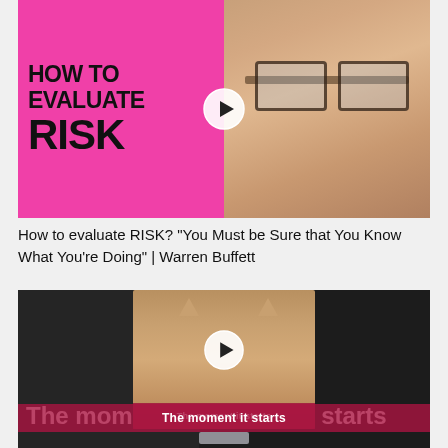[Figure (screenshot): Video thumbnail with pink background showing text 'HOW TO EVALUATE RISK' in bold black letters, with a play button icon in the center, and a photo of Warren Buffett on the right side.]
How to evaluate RISK? "You Must be Sure that You Know What You're Doing" | Warren Buffett
[Figure (screenshot): Video thumbnail showing a cat sitting on a surface, with dark background on left and right sides. Text overlay reads 'The moment starts' with a play button in center. A pink/red banner runs across with text 'The moment it starts'.]